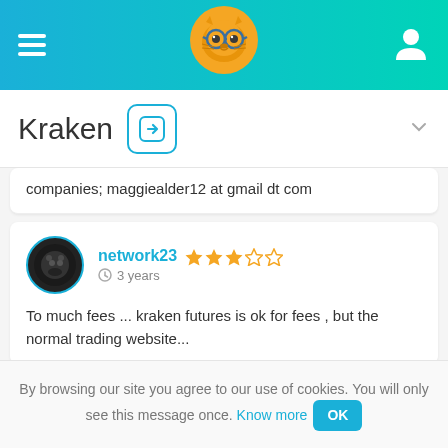Kraken
companies; maggiealder12 at gmail dt com
network23 ★★★☆☆ 3 years
To much fees ... kraken futures is ok for fees , but the normal trading website...
jg1000 ★★★★★ 5 years
By browsing our site you agree to our use of cookies. You will only see this message once. Know more OK